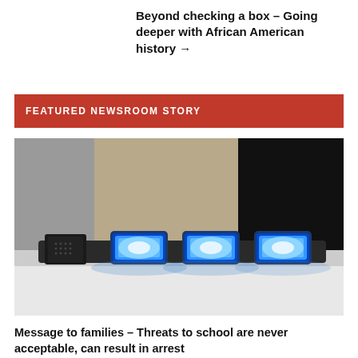Beyond checking a box – Going deeper with African American history →
FEATURED NEWSROOM STORY
[Figure (photo): Close-up photograph of blue police car light bar (siren lights) on top of a police vehicle, with a blurred building facade in the background]
Message to families – Threats to school are never acceptable, can result in arrest